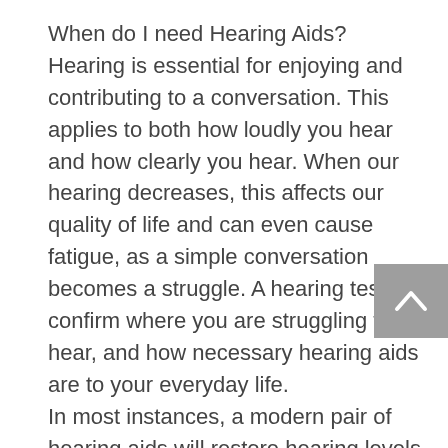When do I need Hearing Aids? Hearing is essential for enjoying and contributing to a conversation. This applies to both how loudly you hear and how clearly you hear. When our hearing decreases, this affects our quality of life and can even cause fatigue, as a simple conversation becomes a struggle. A hearing test will confirm where you are struggling to hear, and how necessary hearing aids are to your everyday life. In most instances, a modern pair of hearing aids will restore hearing levels to normal in a similar way to glasses restore vision. We often recommend that you borrow a pair to experiment with before making a final decision on what to purchase. You can book a free